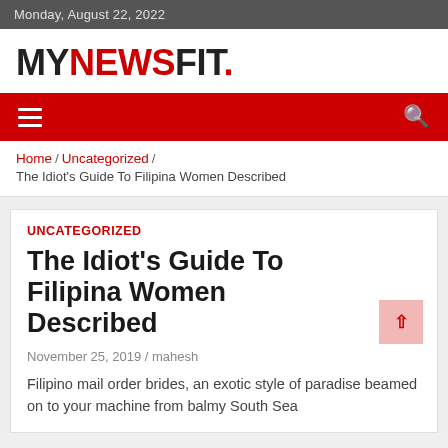Monday, August 22, 2022
MYNEWSFIT.
Home / Uncategorized / The Idiot's Guide To Filipina Women Described
UNCATEGORIZED
The Idiot's Guide To Filipina Women Described
November 25, 2019 / mahesh
Filipino mail order brides, an exotic style of paradise beamed on to your machine from balmy South Sea